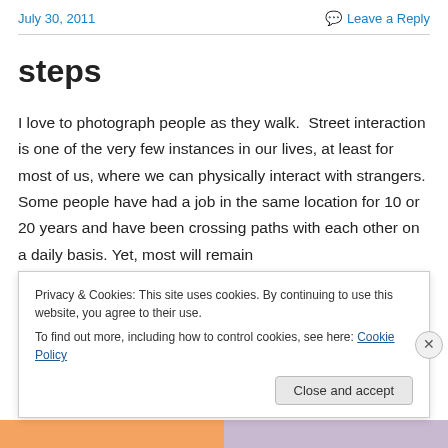July 30, 2011    Leave a Reply
steps
I love to photograph people as they walk.  Street interaction is one of the very few instances in our lives, at least for most of us, where we can physically interact with strangers. Some people have had a job in the same location for 10 or 20 years and have been crossing paths with each other on a daily basis. Yet, most will remain
Privacy & Cookies: This site uses cookies. By continuing to use this website, you agree to their use.
To find out more, including how to control cookies, see here: Cookie Policy